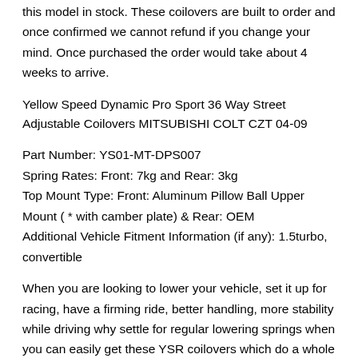this model in stock. These coilovers are built to order and once confirmed we cannot refund if you change your mind. Once purchased the order would take about 4 weeks to arrive.
Yellow Speed Dynamic Pro Sport 36 Way Street Adjustable Coilovers MITSUBISHI COLT CZT 04-09
Part Number: YS01-MT-DPS007
Spring Rates: Front: 7kg and Rear: 3kg
Top Mount Type: Front: Aluminum Pillow Ball Upper Mount ( * with camber plate) & Rear: OEM
Additional Vehicle Fitment Information (if any): 1.5turbo, convertible
When you are looking to lower your vehicle, set it up for racing, have a firming ride, better handling, more stability while driving why settle for regular lowering springs when you can easily get these YSR coilovers which do a whole heap more than just make YOUR vehicle look good! Replaces your factory shocks and springs with this complete set of 4 Yellowspeed Coilovers